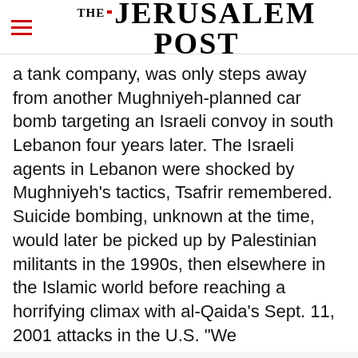THE JERUSALEM POST
a tank company, was only steps away from another Mughniyeh-planned car bomb targeting an Israeli convoy in south Lebanon four years later. The Israeli agents in Lebanon were shocked by Mughniyeh's tactics, Tsafrir remembered. Suicide bombing, unknown at the time, would later be picked up by Palestinian militants in the 1990s, then elsewhere in the Islamic world before reaching a horrifying climax with al-Qaida's Sept. 11, 2001 attacks in the U.S. "We
Advertisement